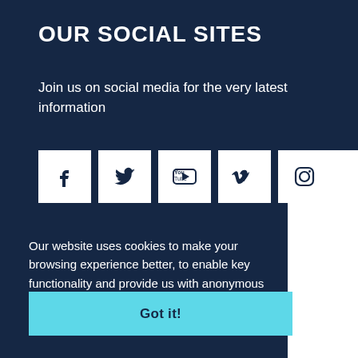OUR SOCIAL SITES
Join us on social media for the very latest information
[Figure (infographic): Five social media icon buttons in white squares: Facebook, Twitter, YouTube, Vimeo, Instagram]
Our website uses cookies to make your browsing experience better, to enable key functionality and provide us with anonymous feedback. By using our site you agree to the use of cookies  Learn more
Got it!